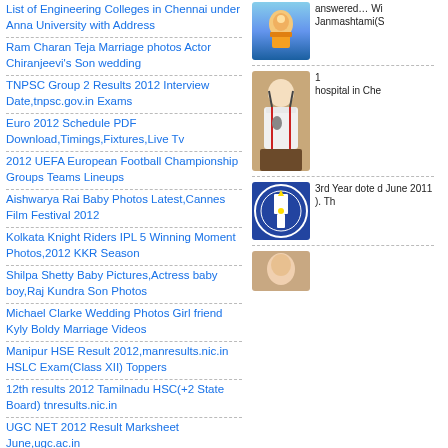List of Engineering Colleges in Chennai under Anna University with Address
Ram Charan Teja Marriage photos Actor Chiranjeevi's Son wedding
TNPSC Group 2 Results 2012 Interview Date,tnpsc.gov.in Exams
Euro 2012 Schedule PDF Download,Timings,Fixtures,Live Tv
2012 UEFA European Football Championship Groups Teams Lineups
Aishwarya Rai Baby Photos Latest,Cannes Film Festival 2012
Kolkata Knight Riders IPL 5 Winning Moment Photos,2012 KKR Season
Shilpa Shetty Baby Pictures,Actress baby boy,Raj Kundra Son Photos
Michael Clarke Wedding Photos Girl friend Kyly Boldy Marriage Videos
Manipur HSE Result 2012,manresults.nic.in HSLC Exam(Class XII) Toppers
12th results 2012 Tamilnadu HSC(+2 State Board) tnresults.nic.in
UGC NET 2012 Result Marksheet June,ugc.ac.in
[Figure (photo): Krishna/deity image with blue sky background]
answered… Wi Janmashtami(S
[Figure (photo): Person in chef/cook attire with suspenders]
1 hospital in Che
[Figure (logo): Tamil Nadu / Anna University circular emblem logo]
3rd Year dote d June 2011 ). Th
[Figure (photo): Bottom right image, partially visible]